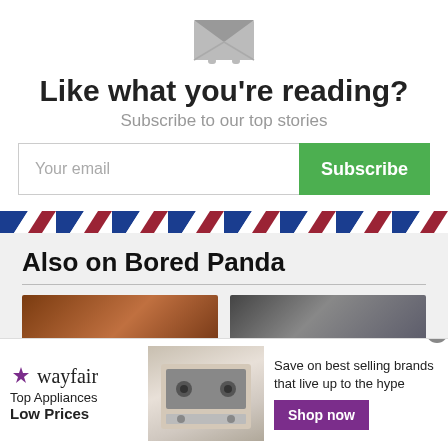[Figure (illustration): Envelope/email icon illustration in gray]
Like what you're reading?
Subscribe to our top stories
[Figure (screenshot): Email input field with placeholder 'Your email' and green Subscribe button]
[Figure (illustration): Airmail-style diagonal stripe border in red and blue]
Also on Bored Panda
[Figure (photo): Two thumbnail images side by side]
[Figure (infographic): Wayfair advertisement banner: Top Appliances Low Prices, Save on best selling brands that live up to the hype, Shop now button]